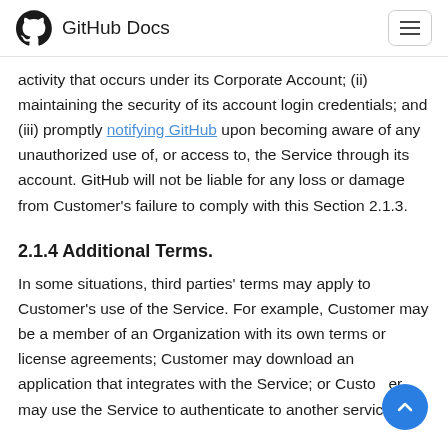GitHub Docs
activity that occurs under its Corporate Account; (ii) maintaining the security of its account login credentials; and (iii) promptly notifying GitHub upon becoming aware of any unauthorized use of, or access to, the Service through its account. GitHub will not be liable for any loss or damage from Customer's failure to comply with this Section 2.1.3.
2.1.4 Additional Terms.
In some situations, third parties' terms may apply to Customer's use of the Service. For example, Customer may be a member of an Organization with its own terms or license agreements; Customer may download an application that integrates with the Service; or Customer may use the Service to authenticate to another service.